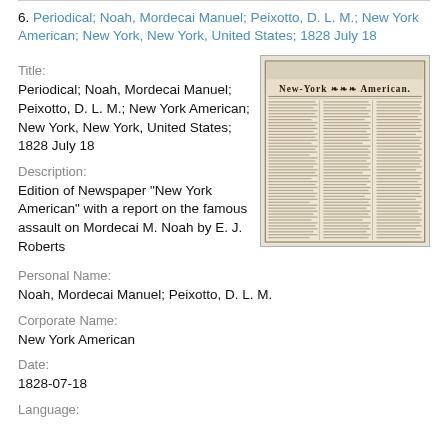6. Periodical; Noah, Mordecai Manuel; Peixotto, D. L. M.; New York American; New York, New York, United States; 1828 July 18
Title:
Periodical; Noah, Mordecai Manuel; Peixotto, D. L. M.; New York American; New York, New York, United States; 1828 July 18
[Figure (photo): Scanned image of the front page of the New York American newspaper, dated 1828 July 18, showing the masthead 'New-York American' in blackletter/gothic type with dense columns of text below.]
Description:
Edition of Newspaper "New York American" with a report on the famous assault on Mordecai M. Noah by E. J. Roberts
Personal Name:
Noah, Mordecai Manuel; Peixotto, D. L. M.
Corporate Name:
New York American
Date:
1828-07-18
Language: